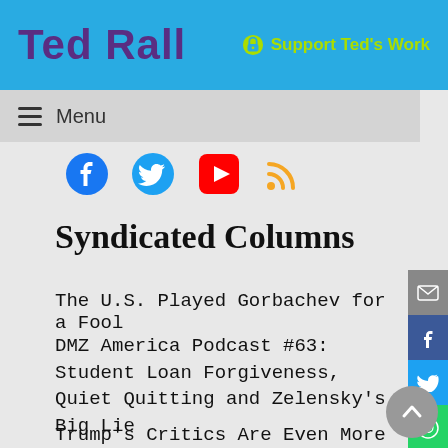Ted Rall — Support Ted's Work
Menu
[Figure (infographic): Social media icons row: Facebook, Twitter, YouTube, RSS]
Syndicated Columns
The U.S. Played Gorbachev for a Fool
DMZ America Podcast #63: Student Loan Forgiveness, Quiet Quitting and Zelensky's Big Lie
Trump's Critics Are Even More Dangerous
[Figure (infographic): Right-side social share bar: email, Facebook, Twitter, WhatsApp, Reddit buttons]